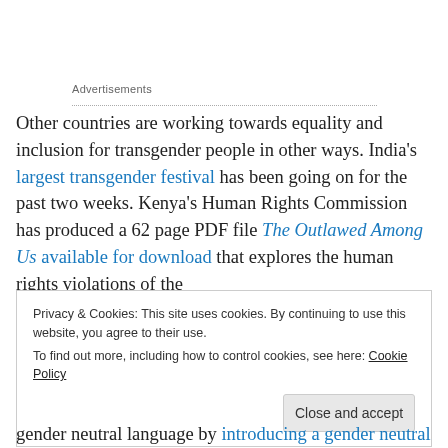Advertisements
Other countries are working towards equality and inclusion for transgender people in other ways. India's largest transgender festival has been going on for the past two weeks. Kenya's Human Rights Commission has produced a 62 page PDF file The Outlawed Among Us available for download that explores the human rights violations of the
Privacy & Cookies: This site uses cookies. By continuing to use this website, you agree to their use.
To find out more, including how to control cookies, see here: Cookie Policy
Close and accept
gender neutral language by introducing a gender neutral